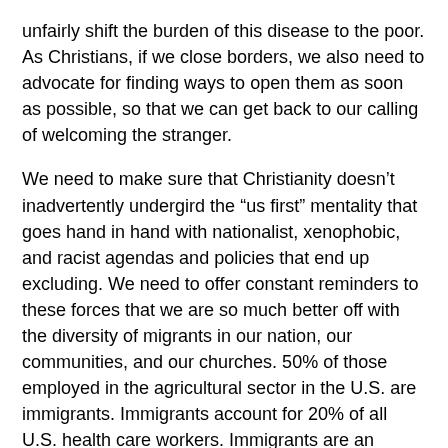unfairly shift the burden of this disease to the poor. As Christians, if we close borders, we also need to advocate for finding ways to open them as soon as possible, so that we can get back to our calling of welcoming the stranger.
We need to make sure that Christianity doesn't inadvertently undergird the “us first” mentality that goes hand in hand with nationalist, xenophobic, and racist agendas and policies that end up excluding. We need to offer constant reminders to these forces that we are so much better off with the diversity of migrants in our nation, our communities, and our churches. 50% of those employed in the agricultural sector in the U.S. are immigrants. Immigrants account for 20% of all U.S. health care workers. Immigrants are an important part of our communities in many ways. Immigrants make the U.S., and the world, function well.
The church has an important role to play to call everyone back to the table so we can move forward in positive ways in these arenas and not get stuck in our fear. Simultaneously, the church is called to welcome the stranger. It is time for the church to boldly proclaim that message that appears 82